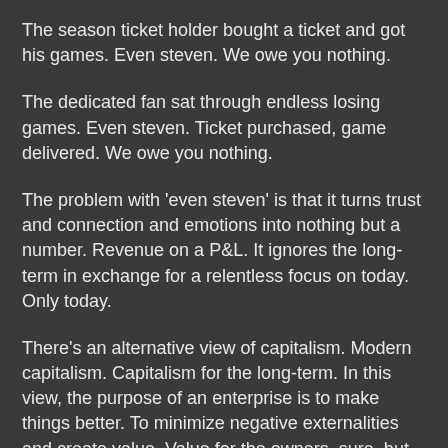The season ticket holder bought a ticket and got his games. Even steven. We owe you nothing.
The dedicated fan sat through endless losing games. Even steven. Ticket purchased, game delivered. We owe you nothing.
The problem with 'even steven' is that it turns trust and connection and emotions into nothing but a number. Revenue on a P&L. It ignores the long-term in exchange for a relentless focus on today. Only today.
There's an alternative view of capitalism. Modern capitalism. Capitalism for the long-term. In this view, the purpose of an enterprise is to make things better. To minimize negative externalities and create value. Value for the owners, sure, but also for the workers, the customers and the bystanders.
"We owe you everything."